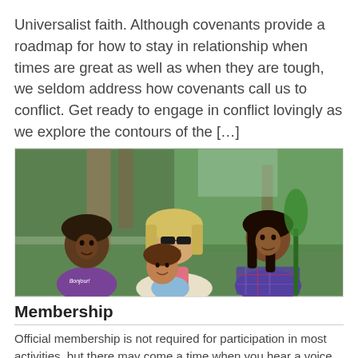Universalist faith. Although covenants provide a roadmap for how to stay in relationship when times are great as well as when they are tough, we seldom address how covenants call us to conflict. Get ready to engage in conflict lovingly as we explore the contours of the […]
[Figure (photo): A woman with sunglasses and three girls posing outdoors among trees and greenery, smiling at the camera.]
Membership
Official membership is not required for participation in most activities, but there may come a time when you hear a voice